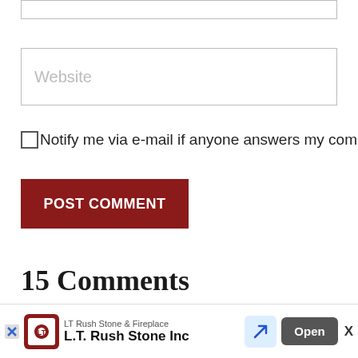[Figure (screenshot): Top portion of a website comment form input box (partially visible at top)]
[Figure (screenshot): Website URL input field with placeholder text 'Website']
Notify me via e-mail if anyone answers my comment.
[Figure (screenshot): Dark red POST COMMENT button]
15 Comments
[Figure (screenshot): Commenter avatar (circular gray profile photo, partially visible) and commenter name (partially visible, cut off)]
[Figure (screenshot): Ad banner at bottom: LT Rush Stone & Fireplace advertisement with Open button and X close button]